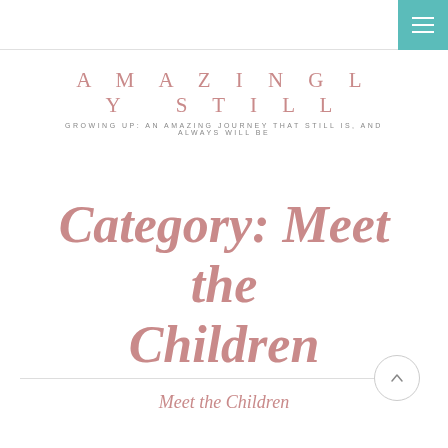AMAZINGLY STILL — GROWING UP: AN AMAZING JOURNEY THAT STILL IS, AND ALWAYS WILL BE
Category: Meet the Children
Meet the Children